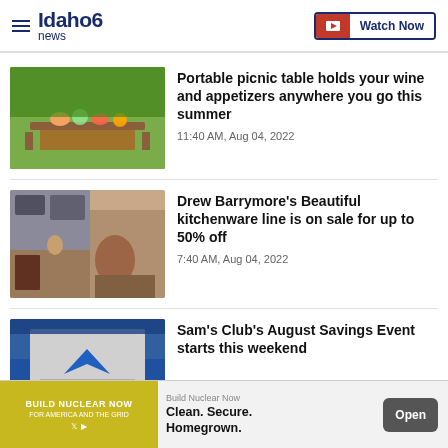Idaho News 6 — Watch Now
Portable picnic table holds your wine and appetizers anywhere you go this summer
11:40 AM, Aug 04, 2022
Drew Barrymore's Beautiful kitchenware line is on sale for up to 50% off
7:40 AM, Aug 04, 2022
Sam's Club's August Savings Event starts this weekend
Build Nuclear Now — Clean. Secure. Homegrown. Open